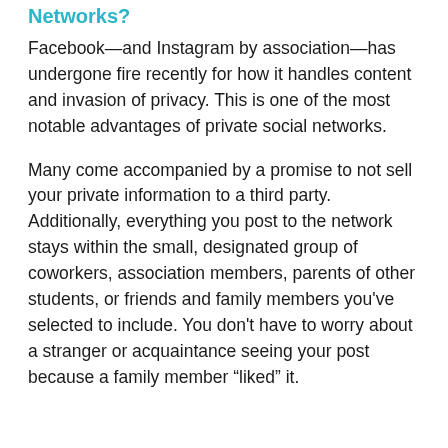Networks?
Facebook—and Instagram by association—has undergone fire recently for how it handles content and invasion of privacy. This is one of the most notable advantages of private social networks.
Many come accompanied by a promise to not sell your private information to a third party. Additionally, everything you post to the network stays within the small, designated group of coworkers, association members, parents of other students, or friends and family members you've selected to include. You don't have to worry about a stranger or acquaintance seeing your post because a family member “liked” it.